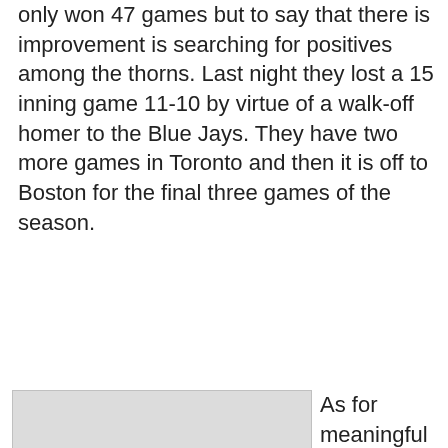only won 47 games  but to say that there is improvement is searching for positives among the thorns. Last night they lost a 15 inning game 11-10 by virtue of a walk-off homer to the Blue Jays. They have two more games in Toronto and then it is off to Boston for the final three games of the season.
[Figure (photo): A practice photo placeholder for GORC Cooperstown 2020 Wildcats 12U, dated September 23, 2019]
Practice
GORC  Cooperstown 2020 Wildcats 12U
September 23, 2019
As for meaningful October games. the GORC  Cooperstown 2020 Wildcats 12U team will be playing the entire month. Yes, it is Fall Ball and while